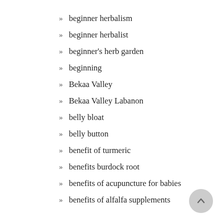» beginner herbalism
» beginner herbalist
» beginner's herb garden
» beginning
» Bekaa Valley
» Bekaa Valley Labanon
» belly bloat
» belly button
» benefit of turmeric
» benefits burdock root
» benefits of acupuncture for babies
» benefits of alfalfa supplements